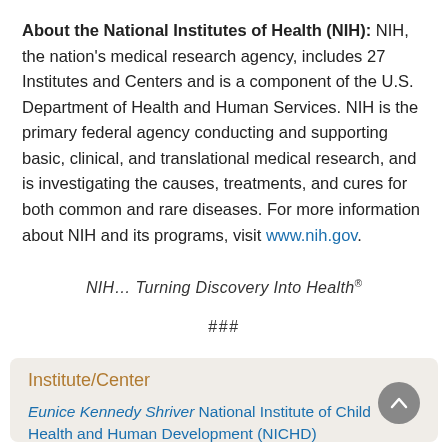About the National Institutes of Health (NIH): NIH, the nation's medical research agency, includes 27 Institutes and Centers and is a component of the U.S. Department of Health and Human Services. NIH is the primary federal agency conducting and supporting basic, clinical, and translational medical research, and is investigating the causes, treatments, and cures for both common and rare diseases. For more information about NIH and its programs, visit www.nih.gov.
NIH… Turning Discovery Into Health®
###
Institute/Center
Eunice Kennedy Shriver National Institute of Child Health and Human Development (NICHD)